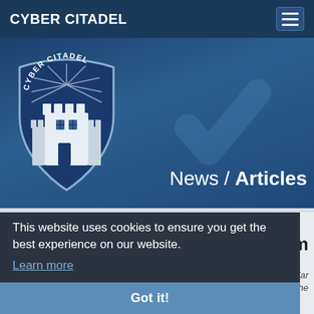CYBER CITADEL
[Figure (logo): Cyber Citadel shield logo with castle tower, white on dark blue background with text CYBER CITADEL arched at top]
News / Articles
This website uses cookies to ensure you get the best experience on our website.
Learn more
Got it!